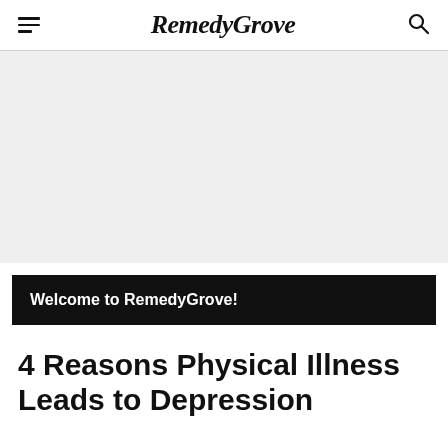RemedyGrove
[Figure (other): Gray advertisement banner area]
Welcome to RemedyGrove!
4 Reasons Physical Illness Leads to Depression